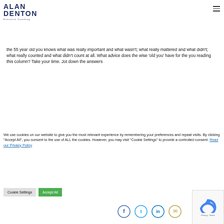[Figure (logo): Alan Denton Executive Coaching logo — bold navy block letters]
the 55 year old you knows what was really important and what wasn't; what really mattered and what didn't; what really counted and what didn't count at all. What advice does the wise 'old you' have for the you reading this column? Take your time. Jot down the answers
We use cookies on our website to give you the most relevant experience by remembering your preferences and repeat visits. By clicking "Accept All", you consent to the use of ALL the cookies. However, you may visit "Cookie Settings" to provide a controlled consent. Read our Privacy Policy
Cookie Settings